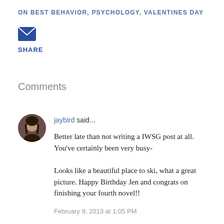ON BEST BEHAVIOR, PSYCHOLOGY, VALENTINES DAY
[Figure (other): Email/share envelope icon button]
SHARE
Comments
[Figure (photo): Circular avatar photo of a person with dark hair]
jaybird said...
Better late than not writing a IWSG post at all. You've certainly been very busy-
Looks like a beautiful place to ski, what a great picture. Happy Birthday Jen and congrats on finishing your fourth novel!!
February 9, 2013 at 1:05 PM